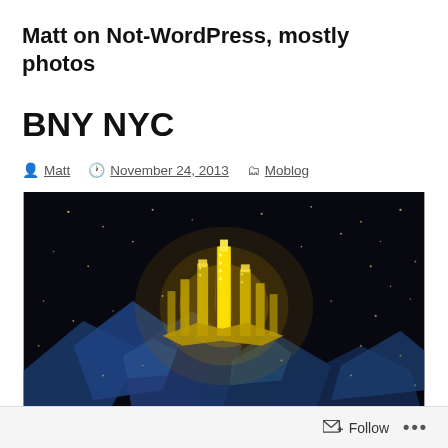Matt on Not-WordPress, mostly photos
BNY NYC
Matt  November 24, 2013  Moblog
[Figure (photo): A dark photo showing a glowing yellow city-like crystalline structure with sparkles and blue geometric shapes on a black background, resembling an artistic light display or concert stage set.]
Follow  ...